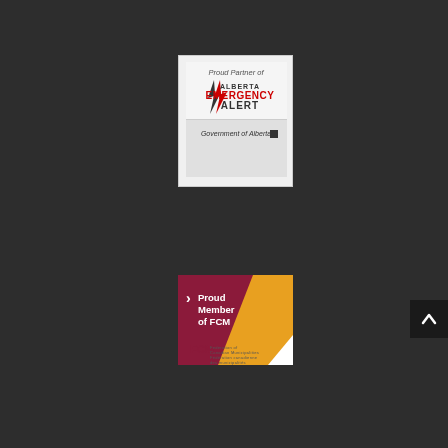[Figure (logo): Alberta Emergency Alert logo badge with text 'Proud Partner of ALBERTA EMERGENCY ALERT' and 'Government of Alberta' on white/light grey background]
[Figure (logo): FCM (Federation of Canadian Municipalities) logo badge with text 'Proud Member of FCM' on dark red/crimson and orange background]